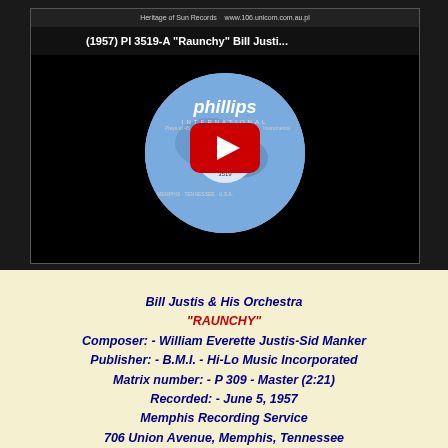[Figure (screenshot): YouTube video thumbnail showing a Phillips International Records 45rpm single of 'Raunchy' by Bill Justis and His Orchestra (catalog number 3519), with a red YouTube play button overlay on a black background. Video title bar reads '(1957) PI 3519-A "Raunchy" Bill Justi...' with a Sun Records logo in the top left corner.]
Bill Justis & His Orchestra
"RAUNCHY"
Composer: - William Everette Justis-Sid Manker
Publisher: - B.M.I. - Hi-Lo Music Incorporated
Matrix number: - P 309 - Master (2:21)
Recorded: - June 5, 1957
Memphis Recording Service
706 Union Avenue, Memphis, Tennessee